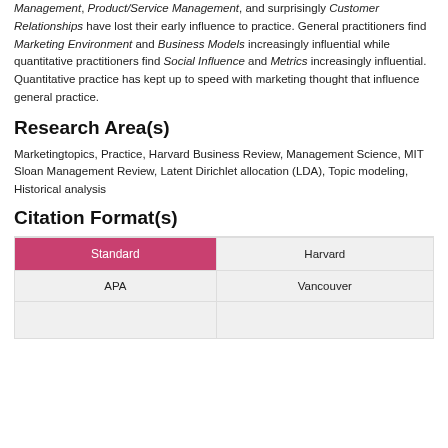Management, Product/Service Management, and surprisingly Customer Relationships have lost their early influence to practice. General practitioners find Marketing Environment and Business Models increasingly influential while quantitative practitioners find Social Influence and Metrics increasingly influential. Quantitative practice has kept up to speed with marketing thought that influence general practice.
Research Area(s)
Marketingtopics, Practice, Harvard Business Review, Management Science, MIT Sloan Management Review, Latent Dirichlet allocation (LDA), Topic modeling, Historical analysis
Citation Format(s)
| Standard | Harvard |
| APA | Vancouver |